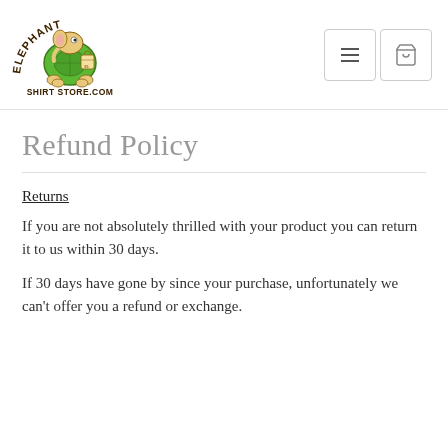[Figure (logo): Elephant Shirt Store logo: cartoon elephant-turtle hybrid in green shirt holding shopping bag, with text 'ELEPHANT SHIRT STORE.COM' arched around it]
[Figure (other): Navigation icons: hamburger menu button and shopping cart button]
Refund Policy
Returns
If you are not absolutely thrilled with your product you can return it to us within 30 days.
If 30 days have gone by since your purchase, unfortunately we can't offer you a refund or exchange.